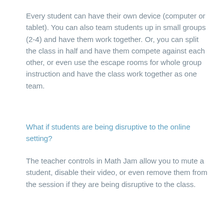Every student can have their own device (computer or tablet). You can also team students up in small groups (2-4) and have them work together. Or, you can split the class in half and have them compete against each other, or even use the escape rooms for whole group instruction and have the class work together as one team.
What if students are being disruptive to the online setting?
The teacher controls in Math Jam allow you to mute a student, disable their video, or even remove them from the session if they are being disruptive to the class.